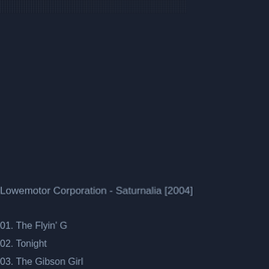[Figure (screenshot): Dark toolbar or media player header strip with noise/texture, partially visible at the top of the page]
Lowemotor Corporation - Saturnalia [2004]
01. The Flyin' G
02. Tonight
03. The Gibson Girl
04. Soul Of A Pagan